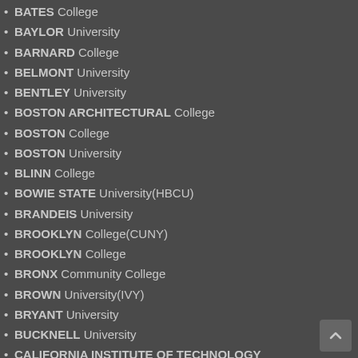BATES College
BAYLOR University
BARNARD College
BELMONT University
BENTLEY University
BOSTON ARCHITECTURAL College
BOSTON College
BOSTON University
BLINN College
BOWIE STATE University(HBCU)
BRANDEIS University
BROOKLYN College(CUNY)
BROOKLYN College
BRONX Community College
BROWN University(IVY)
BRYANT University
BUCKNELL University
CALIFORNIA INSTITUTE OF TECHNOLOGY
CAL POLYTECHNIC STATE University – Pomona